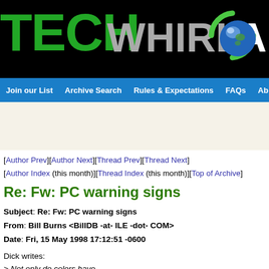[Figure (logo): TechWhirl Archives logo banner with green TECH text, gray WHIRL text, globe icon, and white Ar text on black background]
Join our List | Archive Search | Rules & Expectations | FAQs | Ab
[Figure (other): Advertisement placeholder area with beige/cream background]
[Author Prev][Author Next][Thread Prev][Thread Next]
[Author Index (this month)][Thread Index (this month)][Top of Archive]
Re: Fw: PC warning signs
Subject: Re: Fw: PC warning signs
From: Bill Burns <BillDB -at- ILE -dot- COM>
Date: Fri, 15 May 1998 17:12:51 -0600
Dick writes:
> Not only do colors have
> different connotations in different cultures, but people should think
> for a couple of seconds about the symbols themselves. Does the standard
> Windows warning symbol (exclamation point in a triangle) really have